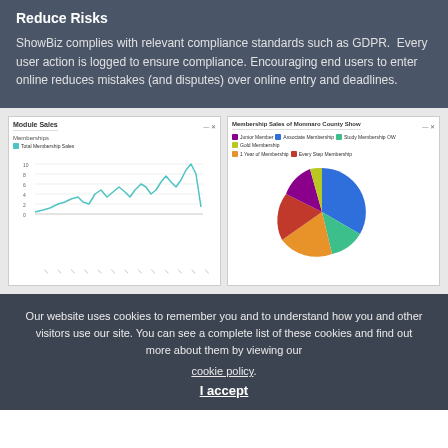Reduce Risks
ShowBiz complies with relevant compliance standards such as GDPR. Every user action is logged to ensure compliance. Encouraging end users to enter online reduces mistakes (and disputes) over online entry and deadlines.
[Figure (line-chart): Line chart showing membership sales over time with a fluctuating teal/cyan line]
[Figure (pie-chart): Pie chart showing membership categories: Junior Member, Associate Membership, Study Membership OW, Gold Membership, 1 Year of Membership, Every Step Membership]
Our website uses cookies to remember you and to understand how you and other visitors use our site. You can see a complete list of these cookies and find out more about them by viewing our cookie policy. I accept